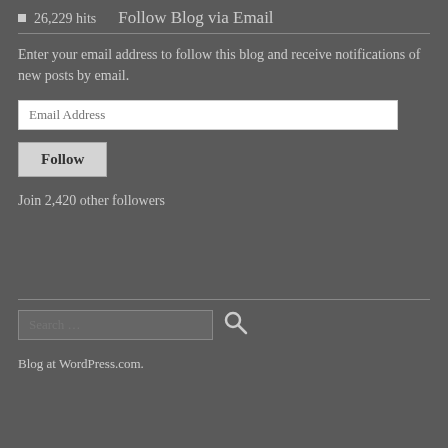26,229 hits
Follow Blog via Email
Enter your email address to follow this blog and receive notifications of new posts by email.
Join 2,420 other followers
Blog at WordPress.com.